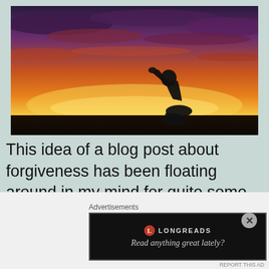[Figure (photo): Silhouette of a person kneeling in prayer against a dramatic sunset sky with orange, yellow, and purple cloud colors]
This idea of a blog post about forgiveness has been floating around in my mind for quite some time. My posts don't have to come from any one specific incident and this one doesn't. But
Advertisements
[Figure (screenshot): Longreads advertisement banner with dark background showing logo and tagline 'Read anything great lately?']